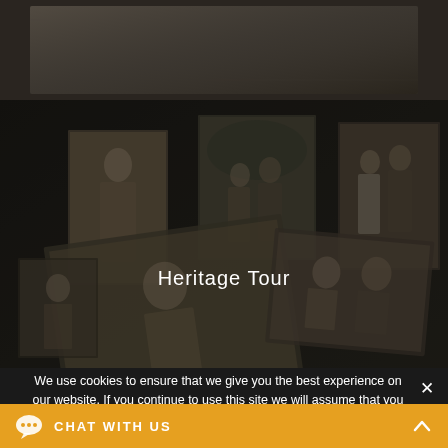[Figure (photo): Top portion of a dark textured background image, partially visible at top of page]
[Figure (photo): Collage of vintage sepia-toned historical portrait photographs scattered across a dark background, with 'Heritage Tour' text overlay in white]
We use cookies to ensure that we give you the best experience on our website. If you continue to use this site we will assume that you are happy with it.
CHAT WITH US